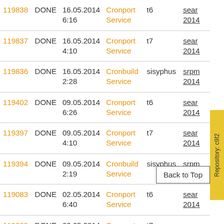| ID | Status | Date/Time | Service | Target | Link |
| --- | --- | --- | --- | --- | --- |
| 119838 | DONE | 16.05.2014 6:16 | Cronport Service | t6 | sear… 2014 |
| 119837 | DONE | 16.05.2014 4:10 | Cronport Service | t7 | sear… 2014 |
| 119836 | DONE | 16.05.2014 2:28 | Cronbuild Service | sisyphus | srpm… 2014 |
| 119402 | DONE | 09.05.2014 6:26 | Cronport Service | t6 | sear… 2014 |
| 119397 | DONE | 09.05.2014 4:10 | Cronport Service | t7 | sear… 2014 |
| 119394 | DONE | 09.05.2014 2:19 | Cronbuild Service | sisyphus | srpm… 2014 |
| 119083 | DONE | 02.05.2014 6:40 | Cronport Service | t6 | sear… 2014 |
| 119069 | DONE | 02.05.2014 4:15 | Cronport Service | t7 | sear… 2014 |
Repository: c9f2